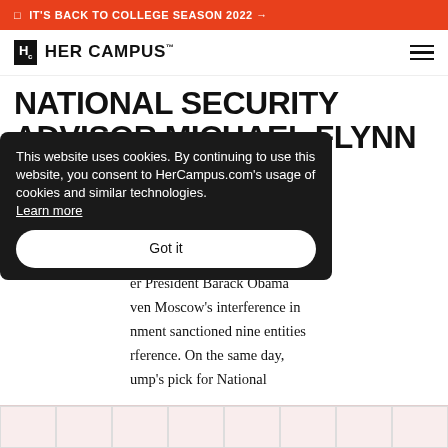IT'S BACK TO COLLEGE SEASON 2022 →
HER CAMPUS
NATIONAL SECURITY ADVISOR MICHAEL FLYNN RESIGNS DUE TO SCANDAL
er President Barack Obama ven Moscow's interference in nment sanctioned nine entities rference. On the same day, ump's pick for National
This website uses cookies. By continuing to use this website, you consent to HerCampus.com's usage of cookies and similar technologies. Learn more Got it